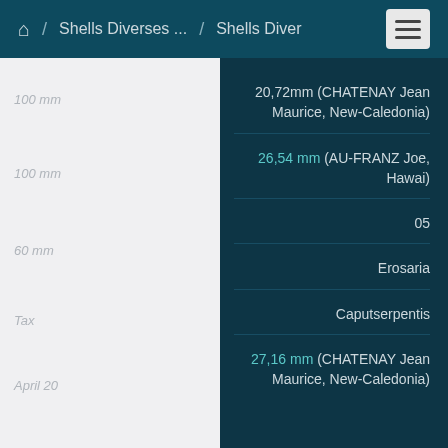Home / Shells Diverses ... / Shells Diver ☰
20,72mm (CHATENAY Jean Maurice, New-Caledonia)
26,54 mm (AU-FRANZ Joe, Hawai)
05
Erosaria
Caputserpentis
27,16 mm (CHATENAY Jean Maurice, New-Caledonia)